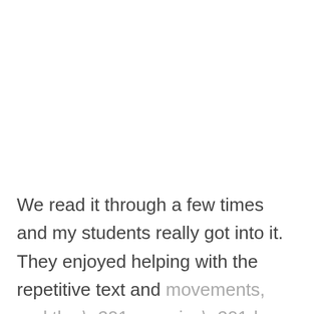We read it through a few times and my students really got into it. They enjoyed helping with the repetitive text and movements, and the “surprise” ending made many of the kids laugh.